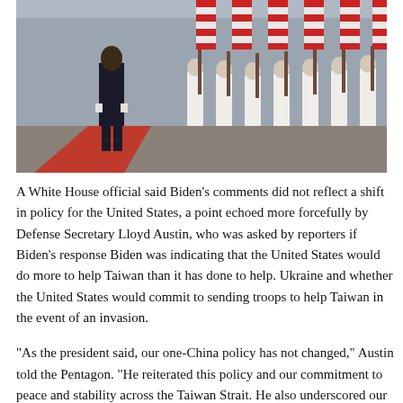[Figure (photo): A person in a dark suit walking on a red carpet past a line of uniformed military personnel holding rifles and flags with red and white stripes, on a cobblestone or paved surface.]
A White House official said Biden's comments did not reflect a shift in policy for the United States, a point echoed more forcefully by Defense Secretary Lloyd Austin, who was asked by reporters if Biden's response Biden was indicating that the United States would do more to help Taiwan than it has done to help. Ukraine and whether the United States would commit to sending troops to help Taiwan in the event of an invasion.
“As the president said, our one-China policy has not changed,” Austin told the Pentagon. “He reiterated this policy and our commitment to peace and stability across the Taiwan Strait. He also underscored our commitment under the Taiwan Relations Act to help